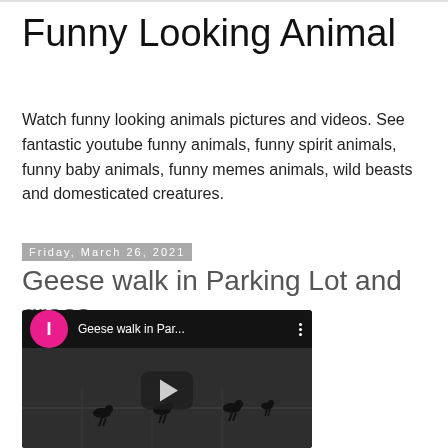Funny Looking Animal
Watch funny looking animals pictures and videos. See fantastic youtube funny animals, funny spirit animals, funny baby animals, funny memes animals, wild beasts and domesticated creatures.
Friday, March 26, 2021
Geese walk in Parking Lot and grass
[Figure (screenshot): YouTube video thumbnail showing geese walking in a dark parking lot, with a pink play button icon, video title 'Geese walk in Par...' and menu dots in the top bar, and a YouTube play button overlay in the center.]